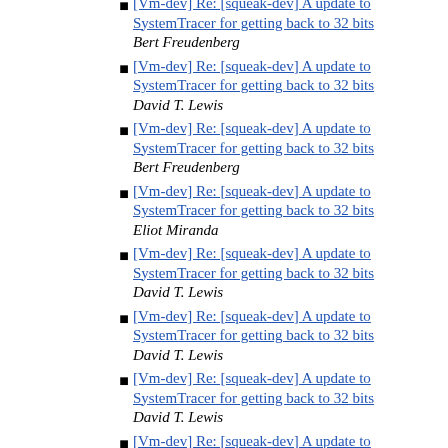[Vm-dev] Re: [squeak-dev] A update to SystemTracer for getting back to 32 bits
Bert Freudenberg
[Vm-dev] Re: [squeak-dev] A update to SystemTracer for getting back to 32 bits
David T. Lewis
[Vm-dev] Re: [squeak-dev] A update to SystemTracer for getting back to 32 bits
Bert Freudenberg
[Vm-dev] Re: [squeak-dev] A update to SystemTracer for getting back to 32 bits
Eliot Miranda
[Vm-dev] Re: [squeak-dev] A update to SystemTracer for getting back to 32 bits
David T. Lewis
[Vm-dev] Re: [squeak-dev] A update to SystemTracer for getting back to 32 bits
David T. Lewis
[Vm-dev] Re: [squeak-dev] A update to SystemTracer for getting back to 32 bits
David T. Lewis
[Vm-dev] Re: [squeak-dev] A update to SystemTracer for getting back to 32 bits
Eliot Miranda
[Vm-dev] VM Platform contribution (Plan9)
Alex Franchuk